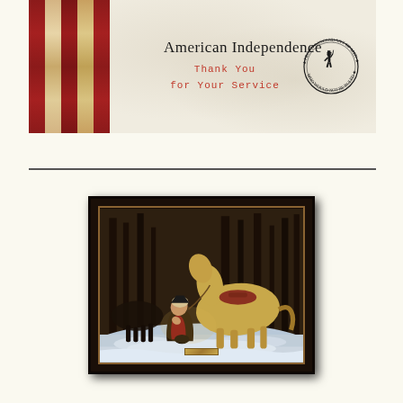[Figure (illustration): American Independence banner with red and cream vertical stripes on the left, text 'American Independence' and 'Thank You for Your Service' in red on a parchment background, and a circular seal showing a colonial minuteman soldier silhouette with text 'PROUD DESCENDANT OF MEN WHO WOULD NOT BE RULED' around the border with stars]
[Figure (photo): Framed painting in a dark wooden frame with gold inner border, depicting a figure (George Washington) kneeling in prayer in a snowy winter forest scene with a horse standing nearby. A small gold plaque is mounted at the bottom center of the frame.]